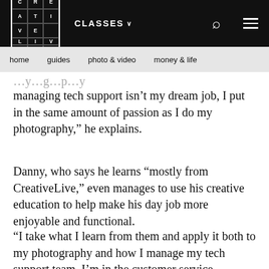CREATIVE LIVE | CLASSES | [search] [menu]
home   guides   photo & video   money & life
managing tech support isn't my dream job, I put in the same amount of passion as I do my photography,” he explains.
Danny, who says he learns “mostly from CreativeLive,” even manages to use his creative education to help make his day job more enjoyable and functional.
“I take what I learn from them and apply it both to my photography and how I manage my tech support team. I’m in the customer service